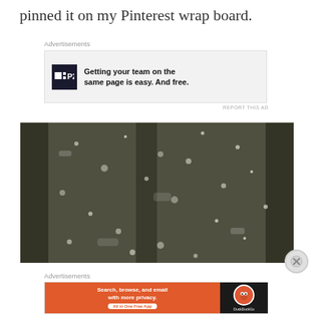pinned it on my Pinterest wrap board.
Advertisements
[Figure (screenshot): Advertisement banner for P2 with logo and text: Getting your team on the same page is easy. And free.]
REPORT THIS AD
[Figure (photo): Close-up black and white photograph of a textured surface with snow or frost particles scattered across it, with dark vertical bars or rails visible.]
Advertisements
[Figure (screenshot): DuckDuckGo advertisement banner: Search, browse, and email with more privacy. All in One Free App. Orange background on left side with DuckDuckGo logo on dark right side.]